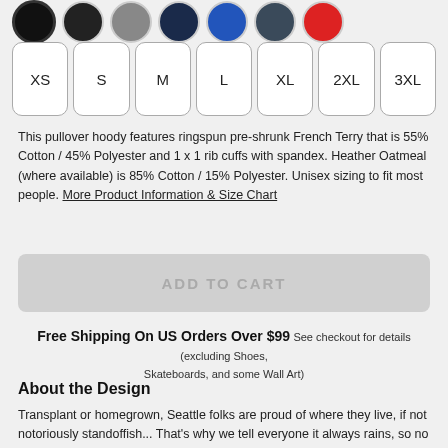[Figure (other): Color swatches: black (selected/outlined), dark black, gray, dark navy, blue, dark blue-gray, red]
XS S M L XL 2XL 3XL — size selector buttons
This pullover hoody features ringspun pre-shrunk French Terry that is 55% Cotton / 45% Polyester and 1 x 1 rib cuffs with spandex. Heather Oatmeal (where available) is 85% Cotton / 15% Polyester. Unisex sizing to fit most people. More Product Information & Size Chart
ADD TO CART
Free Shipping On US Orders Over $99 See checkout for details (excluding Shoes, Skateboards, and some Wall Art)
About the Design
Transplant or homegrown, Seattle folks are proud of where they live, if not notoriously standoffish... That's why we tell everyone it always rains, so no one comes here.